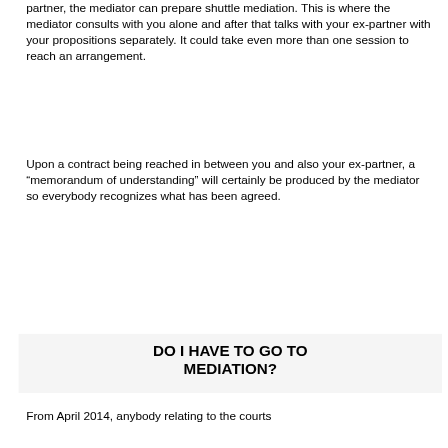partner, the mediator can prepare shuttle mediation. This is where the mediator consults with you alone and after that talks with your ex-partner with your propositions separately. It could take even more than one session to reach an arrangement.
Upon a contract being reached in between you and also your ex-partner, a “memorandom of understanding” will certainly be produced by the mediator so everybody recognizes what has been agreed.
DO I HAVE TO GO TO MEDIATION?
From April 2014, anybody relating to the courts